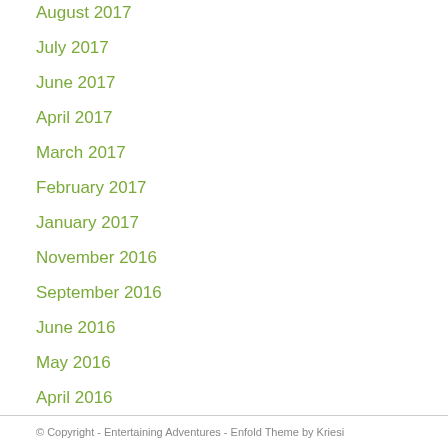August 2017
July 2017
June 2017
April 2017
March 2017
February 2017
January 2017
November 2016
September 2016
June 2016
May 2016
April 2016
© Copyright - Entertaining Adventures - Enfold Theme by Kriesi